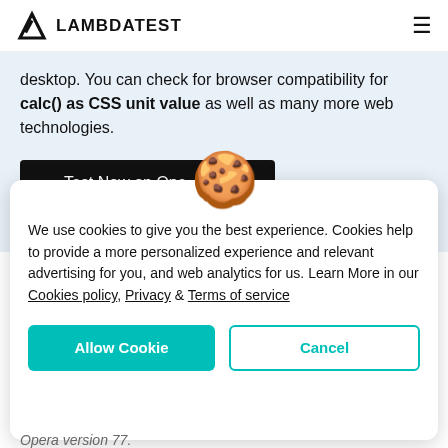LAMBDATEST
desktop. You can check for browser compatibility for calc() as CSS unit value as well as many more web technologies.
[Figure (screenshot): Dark button labeled 'Test Now on Opera 77' with a cookie emoji icon overlapping the button]
We use cookies to give you the best experience. Cookies help to provide a more personalized experience and relevant advertising for you, and web analytics for us. Learn More in our Cookies policy, Privacy & Terms of service
Opera version 77.